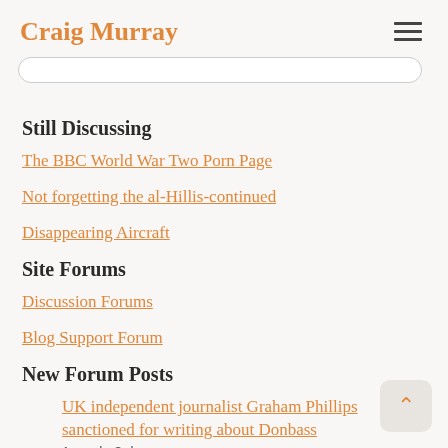Craig Murray
Still Discussing
The BBC World War Two Porn Page
Not forgetting the al-Hillis-continued
Disappearing Aircraft
Site Forums
Discussion Forums
Blog Support Forum
New Forum Posts
UK independent journalist Graham Phillips sanctioned for writing about Donbass
1 week, 3 days ago